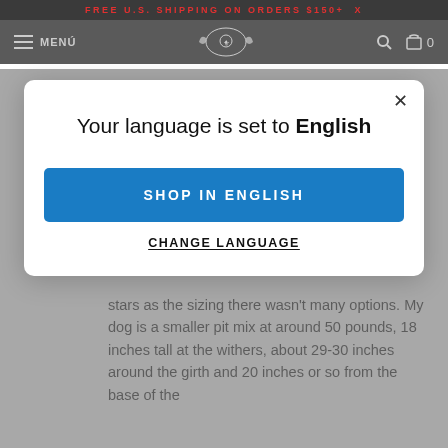FREE U.S. SHIPPING ON ORDERS $150+  X
MENU  [logo]  [search]  [cart] 0
Your language is set to English
SHOP IN ENGLISH
CHANGE LANGUAGE
stars as the sizing there wasn't many options. My dog is a smaller pit mix at around 50 pounds, 18 inches tall at the withers, about 29-30 inches around the girth and 20 inches or so from the base of the collar placement down to the hem